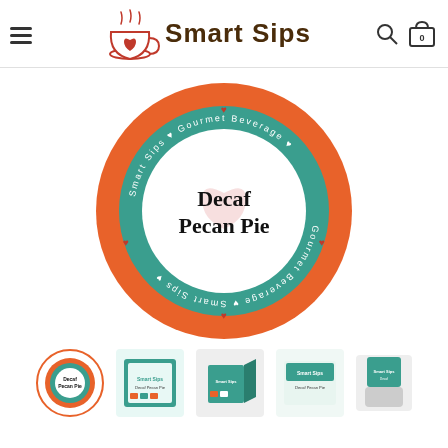Smart Sips
[Figure (photo): Smart Sips Decaf Pecan Pie coffee pod K-cup top view. Orange circular pod with teal inner ring, white center circle with 'Decaf Pecan Pie' text and Smart Sips Gourmet Beverage branding around the edge.]
[Figure (photo): Thumbnail gallery showing 5 product images: the pod top view, product box front, product box angle, product label, and single pod side view.]